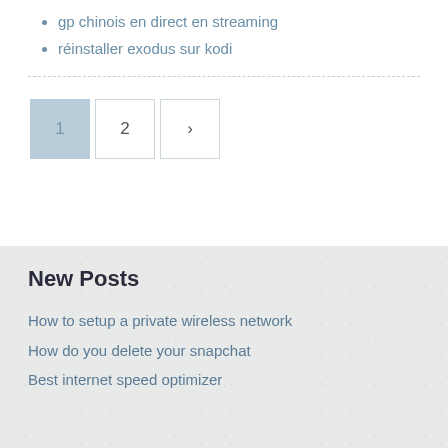gp chinois en direct en streaming
réinstaller exodus sur kodi
[Figure (other): Pagination controls showing page 1 (active/highlighted), page 2, and a next arrow button]
New Posts
How to setup a private wireless network
How do you delete your snapchat
Best internet speed optimizer